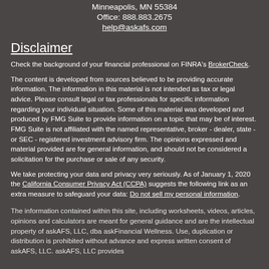Minneapolis, MN 55384
Office: 888.883.2675
help@askafs.com
Disclaimer
Check the background of your financial professional on FINRA's BrokerCheck.
The content is developed from sources believed to be providing accurate information. The information in this material is not intended as tax or legal advice. Please consult legal or tax professionals for specific information regarding your individual situation. Some of this material was developed and produced by FMG Suite to provide information on a topic that may be of interest. FMG Suite is not affiliated with the named representative, broker - dealer, state - or SEC - registered investment advisory firm. The opinions expressed and material provided are for general information, and should not be considered a solicitation for the purchase or sale of any security.
We take protecting your data and privacy very seriously. As of January 1, 2020 the California Consumer Privacy Act (CCPA) suggests the following link as an extra measure to safeguard your data: Do not sell my personal information.
The information contained within this site, including worksheets, videos, articles, opinions and calculators are meant for general guidance and are the intellectual property of askAFS, LLC, dba askFinancial Wellness. Use, duplication or distribution is prohibited without advance and express written consent of askAFS, LLC. askAFS, LLC provides